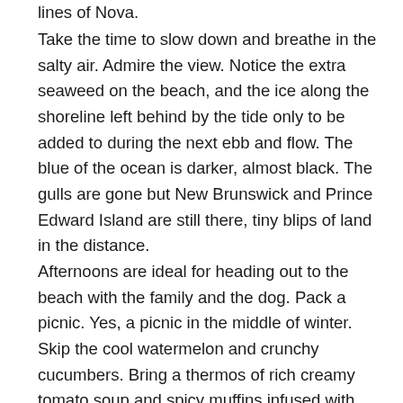lines of Nova.
Take the time to slow down and breathe in the salty air. Admire the view. Notice the extra seaweed on the beach, and the ice along the shoreline left behind by the tide only to be added to during the next ebb and flow. The blue of the ocean is darker, almost black. The gulls are gone but New Brunswick and Prince Edward Island are still there, tiny blips of land in the distance. Afternoons are ideal for heading out to the beach with the family and the dog. Pack a picnic. Yes, a picnic in the middle of winter. Skip the cool watermelon and crunchy cucumbers. Bring a thermos of rich creamy tomato soup and spicy muffins infused with warming ginger and cinnamon. It’s an opportunity for the children to run and play, building castles of snow instead of sand. Regardless of the season, the shore is always a great place for treasure hunting for shiny shells, pretty rocks, driftwood